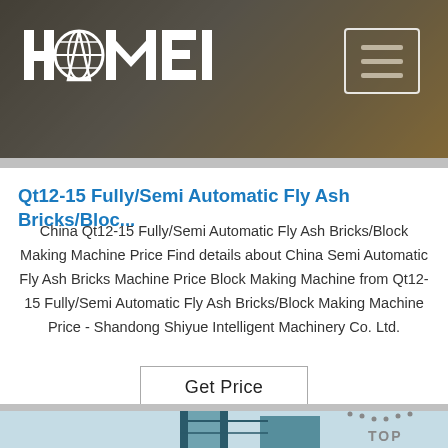[Figure (photo): HAOMEI company website header banner showing industrial/construction machinery in dark tones with HAOMEI logo on left and hamburger menu icon on right]
Qt12-15 Fully/Semi Automatic Fly Ash Bricks/Bloc...
China Qt12-15 Fully/Semi Automatic Fly Ash Bricks/Block Making Machine Price Find details about China Semi Automatic Fly Ash Bricks Machine Price Block Making Machine from Qt12-15 Fully/Semi Automatic Fly Ash Bricks/Block Making Machine Price - Shandong Shiyue Intelligent Machinery Co. Ltd.
[Figure (screenshot): Get Price button - bordered rectangle with text 'Get Price']
[Figure (photo): Bottom portion showing industrial tower/building structure in teal/blue tones against light sky background, with TOP navigation button overlay on right side]